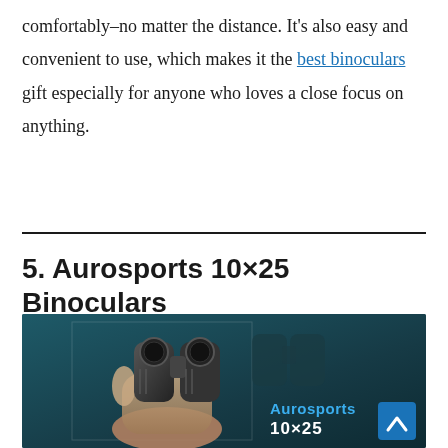comfortably–no matter the distance. It's also easy and convenient to use, which makes it the best binoculars gift especially for anyone who loves a close focus on anything.
5. Aurosports 10×25 Binoculars
[Figure (photo): Photo of Aurosports 10x25 binoculars being held by a hand against a dark teal background, with 'Aurosports 10x25' text overlay in the lower right area of the image.]